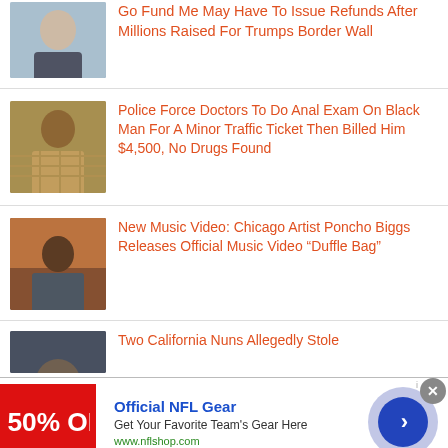Go Fund Me May Have To Issue Refunds After Millions Raised For Trumps Border Wall
[Figure (photo): Headshot of a young white man outdoors]
Police Force Doctors To Do Anal Exam On Black Man For A Minor Traffic Ticket Then Billed Him $4,500, No Drugs Found
[Figure (photo): Photo of a Black man in a plaid shirt outdoors]
New Music Video: Chicago Artist Poncho Biggs Releases Official Music Video “Duffle Bag”
[Figure (photo): Photo of a person outdoors near a brick wall]
Two California Nuns Allegedly Stole
[Figure (photo): Partial photo, partially cut off]
Official NFL Gear
Get Your Favorite Team's Gear Here
www.nflshop.com